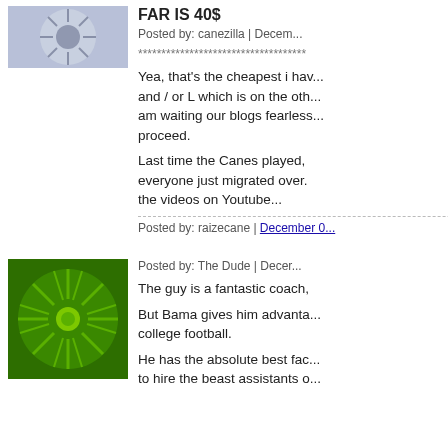FAR IS 40$
Posted by: canezilla | Decem...
************************************
Yea, that's the cheapest i hav... and / or L which is on the oth... am waiting our blogs fearless... proceed.
Last time the Canes played, everyone just migrated over. the videos on Youtube...
Posted by: raizecane | December 0...
[Figure (illustration): Green sunburst avatar icon with green circle in center]
Posted by: The Dude | Decer...
The guy is a fantastic coach,
But Bama gives him advanta... college football.
He has the absolute best fac... to hire the beast assistants o...